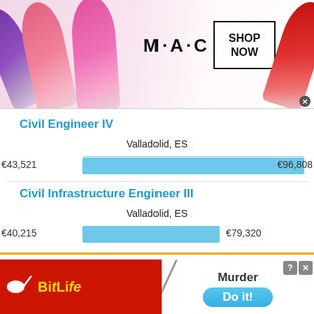[Figure (photo): MAC cosmetics advertisement banner showing lipsticks, MAC logo, and a SHOP NOW button]
Civil Engineer IV
Valladolid, ES
€43,521   €96,808
Civil Infrastructure Engineer III
Valladolid, ES
€40,215   €79,320
This site uses cookies and other similar technologies to provide site functionality, analyze traffic and usage, and
[Figure (advertisement): BitLife mobile game advertisement with red background, sperm logo, and BitLife text in yellow]